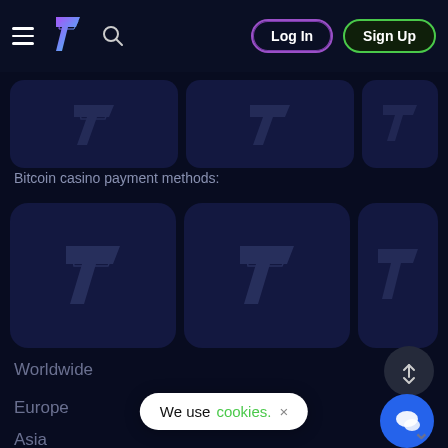[Figure (screenshot): Navigation bar with hamburger menu, logo (stylized 7), search icon, Log In button (purple border), Sign Up button (green border)]
[Figure (other): Top row of three dark rounded cards with faint 7 logo watermarks]
Bitcoin casino payment methods:
[Figure (other): Bottom row of three dark rounded cards with faint 7 logo watermarks - payment method cards]
Worldwide
Europe
Asia
[Figure (other): Scroll up/down toggle button (dark circular button with up arrow and checkmark)]
[Figure (other): Blue chat button (circle with chat bubble icon)]
We use cookies. ×